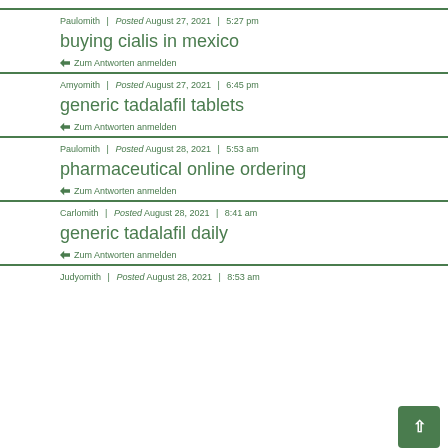Paulomith | Posted August 27, 2021 | 5:27 pm
buying cialis in mexico
← Zum Antworten anmelden
Amyomith | Posted August 27, 2021 | 6:45 pm
generic tadalafil tablets
← Zum Antworten anmelden
Paulomith | Posted August 28, 2021 | 5:53 am
pharmaceutical online ordering
← Zum Antworten anmelden
Carlomith | Posted August 28, 2021 | 8:41 am
generic tadalafil daily
← Zum Antworten anmelden
Judyomith | Posted August 28, 2021 | 8:53 am